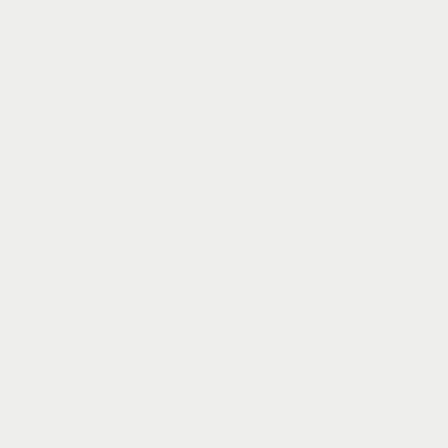on wh sid I like to pla as. I cho bi- gar me I like bot and join EP TE Arr wh I had the